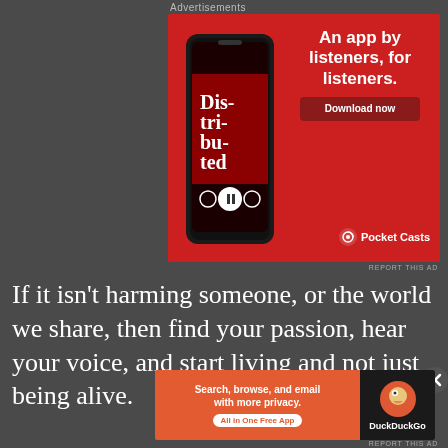Advertisements
[Figure (photo): Pocket Casts advertisement banner on red background. Shows a smartphone with 'Distributed' podcast app open. Text reads: 'An app by listeners, for listeners.' with a 'Download now' button and Pocket Casts logo at bottom.]
REPORT THIS AD
If it isn't harming someone, or the world we share, then find your passion, hear your voice, and start living and not just being alive.
[Figure (photo): DuckDuckGo advertisement banner on orange background. Text reads: 'Search, browse, and email with more privacy. All in One Free App' with DuckDuckGo logo on dark right section.]
REPORT THIS AD